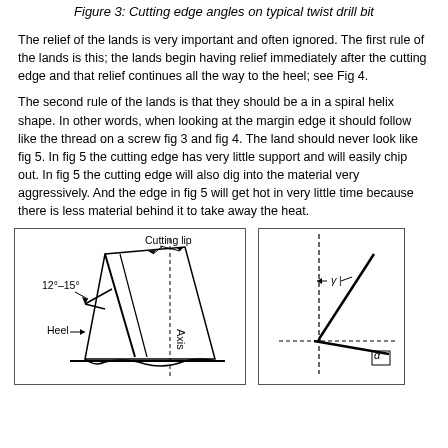Figure 3: Cutting edge angles on typical twist drill bit
The relief of the lands is very important and often ignored. The first rule of the lands is this; the lands begin having relief immediately after the cutting edge and that relief continues all the way to the heel; see Fig 4.
The second rule of the lands is that they should be a in a spiral helix shape. In other words, when looking at the margin edge it should follow like the thread on a screw fig 3 and fig 4. The land should never look like fig 5. In fig 5 the cutting edge has very little support and will easily chip out. In fig 5 the cutting edge will also dig into the material very aggressively. And the edge in fig 5 will get hot in very little time because there is less material behind it to take away the heat.
[Figure (engineering-diagram): Diagram of cutting lip and heel of a twist drill bit showing 12°–15° angle range and the Axis label, with arrows pointing to cutting lip and heel.]
[Figure (engineering-diagram): Diagram showing rake angle gamma and relief angle alpha on a drill bit cutting edge, with dashed lines indicating reference directions.]